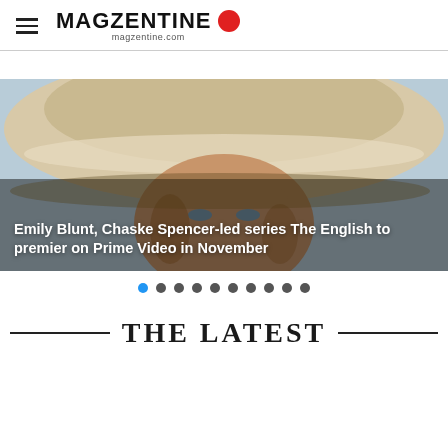MAGZENTINE magzentine.com
[Figure (photo): Close-up photo of a woman wearing a large cream-colored wide-brimmed hat, looking forward with a serious expression. Text overlay reads: Emily Blunt, Chaske Spencer-led series The English to premier on Prime Video in November]
Emily Blunt, Chaske Spencer-led series The English to premier on Prime Video in November
THE LATEST